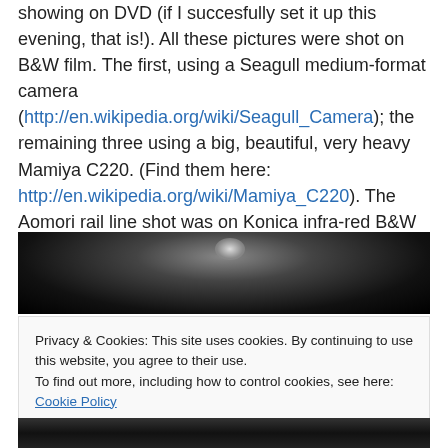showing on DVD (if I succesfully set it up this evening, that is!). All these pictures were shot on B&W film. The first, using a Seagull medium-format camera (http://en.wikipedia.org/wiki/Seagull_Camera); the remaining three using a big, beautiful, very heavy Mamiya C220. (Find them here: http://en.wikipedia.org/wiki/Mamiya_C220). The Aomori rail line shot was on Konica infra-red B&W film.
[Figure (photo): Black and white photograph strip showing a dark blurred image with a bright highlight/reflection near the top center]
Privacy & Cookies: This site uses cookies. By continuing to use this website, you agree to their use.
To find out more, including how to control cookies, see here: Cookie Policy
[Figure (photo): Black and white photograph strip at the bottom of the page showing a partial face]